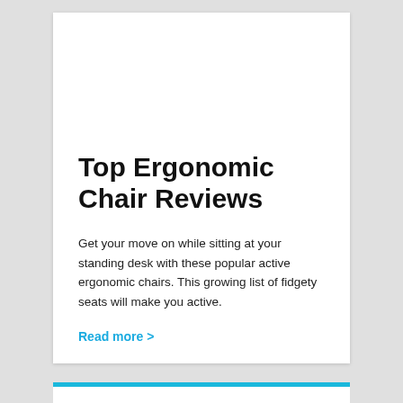Top Ergonomic Chair Reviews
Get your move on while sitting at your standing desk with these popular active ergonomic chairs. This growing list of fidgety seats will make you active.
Read more >